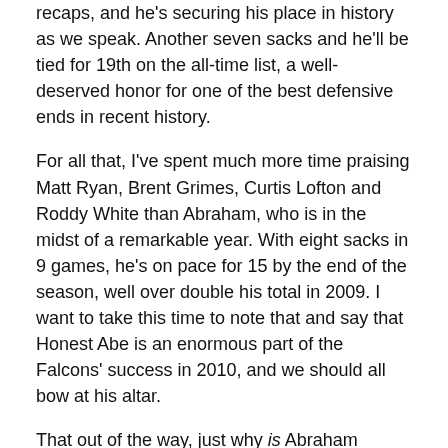recaps, and he's securing his place in history as we speak. Another seven sacks and he'll be tied for 19th on the all-time list, a well-deserved honor for one of the best defensive ends in recent history.
For all that, I've spent much more time praising Matt Ryan, Brent Grimes, Curtis Lofton and Roddy White than Abraham, who is in the midst of a remarkable year. With eight sacks in 9 games, he's on pace for 15 by the end of the season, well over double his total in 2009. I want to take this time to note that and say that Honest Abe is an enormous part of the Falcons' success in 2010, and we should all bow at his altar.
That out of the way, just why is Abraham having such a good season this year?
Reason #1: He had a good season last year